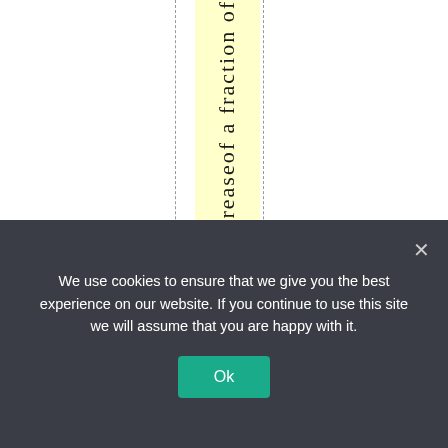reaseof a fraction of
We use cookies to ensure that we give you the best experience on our website. If you continue to use this site we will assume that you are happy with it.